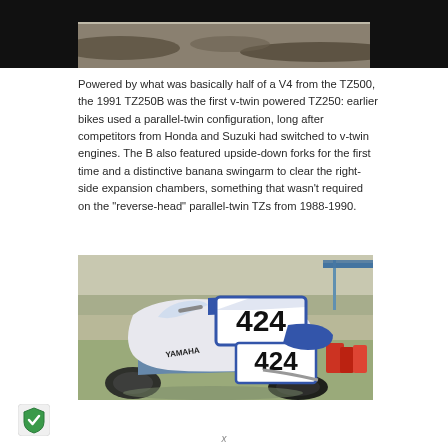[Figure (photo): Top portion of a motorcycle or racing scene photograph, partially cropped, showing shadows on gravel/dirt ground with dark surroundings.]
Powered by what was basically half of a V4 from the TZ500, the 1991 TZ250B was the first v-twin powered TZ250: earlier bikes used a parallel-twin configuration, long after competitors from Honda and Suzuki had switched to v-twin engines. The B also featured upside-down forks for the first time and a distinctive banana swingarm to clear the right-side expansion chambers, something that wasn’t required on the “reverse-head” parallel-twin TZs from 1988-1990.
[Figure (photo): A white and blue Yamaha TZ250 racing motorcycle numbered 424, parked on grass at a racing event. The bike has prominent race number plates showing 424 on both the front fairing and tail section. Red fuel containers visible in the background.]
[Figure (logo): Green shield security icon/badge in bottom left corner.]